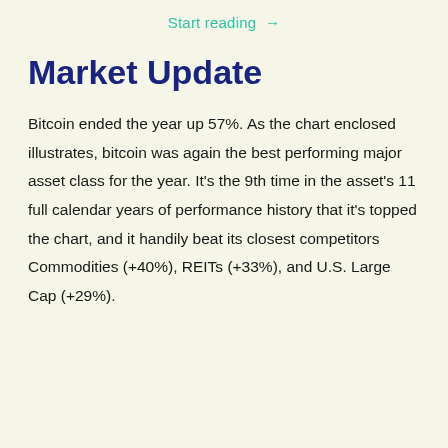Start reading →
Market Update
Bitcoin ended the year up 57%. As the chart enclosed illustrates, bitcoin was again the best performing major asset class for the year. It's the 9th time in the asset's 11 full calendar years of performance history that it's topped the chart, and it handily beat its closest competitors Commodities (+40%), REITs (+33%), and U.S. Large Cap (+29%).